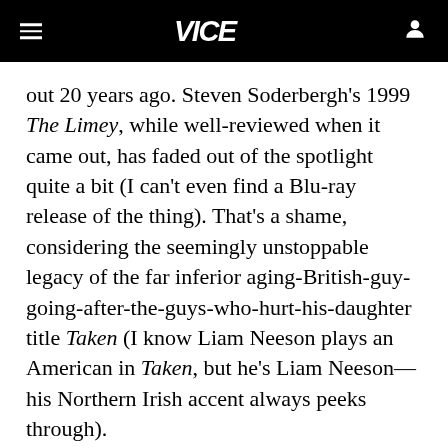VICE
out 20 years ago. Steven Soderbergh's 1999 The Limey, while well-reviewed when it came out, has faded out of the spotlight quite a bit (I can't even find a Blu-ray release of the thing). That's a shame, considering the seemingly unstoppable legacy of the far inferior aging-British-guy-going-after-the-guys-who-hurt-his-daughter title Taken (I know Liam Neeson plays an American in Taken, but he's Liam Neeson—his Northern Irish accent always peeks through).
ADVERTISEMENT